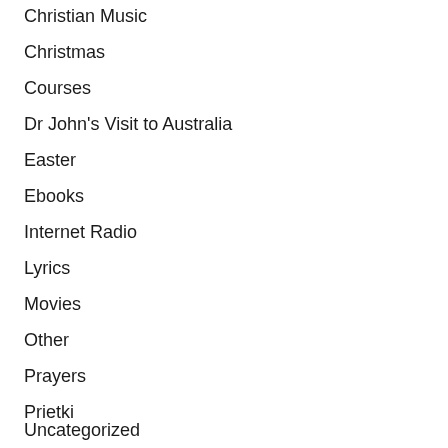Christian Music
Christmas
Courses
Dr John's Visit to Australia
Easter
Ebooks
Internet Radio
Lyrics
Movies
Other
Prayers
Prietki
Uncategorized